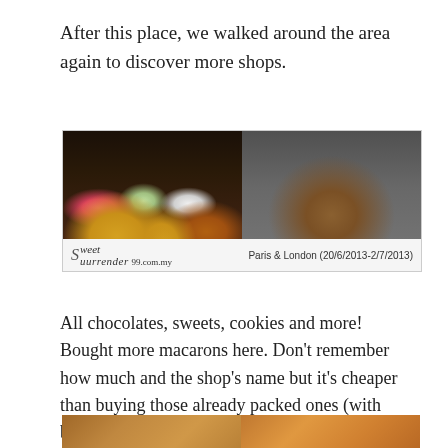After this place, we walked around the area again to discover more shops.
[Figure (photo): Two photos side by side: left shows a display of colorful macarons and sweets in trays; right shows a model wooden sailing ship against a stone wall background. Watermark: Sweet Surrender 99.com.my | Paris & London (20/6/2013-2/7/2013)]
All chocolates, sweets, cookies and more! Bought more macarons here. Don't remember how much and the shop's name but it's cheaper than buying those already packed ones (with boxes or nice packaging) in the shop.
[Figure (photo): Two photos side by side at the bottom: left shows a shop interior with shelves of packaged goods; right shows a close-up of roasted nuts or pastries.]